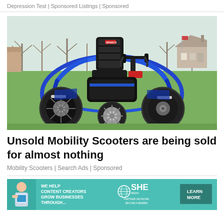Depression Test | Sponsored Listings | Sponsored
[Figure (photo): A blue and black all-terrain powered mobility scooter with large off-road wheels, a high-back racing seat, and handlebars, parked on a grass field with trees and houses in the background.]
Unsold Mobility Scooters are being sold for almost nothing
Mobility Scooters | Search Ads | Sponsored
[Figure (photo): Advertisement banner for SHE Media Partner Network. Shows a young woman with a tablet on the left, text 'WE HELP CONTENT CREATORS GROW BUSINESSES THROUGH...' in white on teal background, SHE logo with globe icon, and a dark teal 'LEARN MORE' button on the right.]